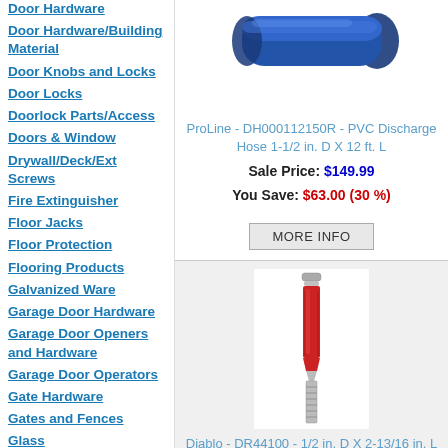Door Hardware
Door Hardware/Building Material
Door Knobs and Locks
Door Locks
Doorlock Parts/Access
Doors & Window
Drywall/Deck/Ext Screws
Fire Extinguisher
Floor Jacks
Floor Protection
Flooring Products
Galvanized Ware
Garage Door Hardware
Garage Door Openers and Hardware
Garage Door Operators
Gate Hardware
Gates and Fences
Glass
Glass & Acrylic
[Figure (photo): Blue PVC discharge hose, cylindrical tube shown at an angle]
ProLine - DH000112150R - PVC Discharge Hose 1-1/2 in. D X 12 ft. L
Sale Price: $149.99
You Save: $63.00 (30 %)
MORE INFO
[Figure (photo): Red carbide flush trim router bit with metal shank]
Diablo - DR44100 - 1/2 in. D X 2-13/16 in. L Carbide Flush Trim Router Bit
Sale Price: $27.47
You Save: $15.02 (35 %)
MORE INFO